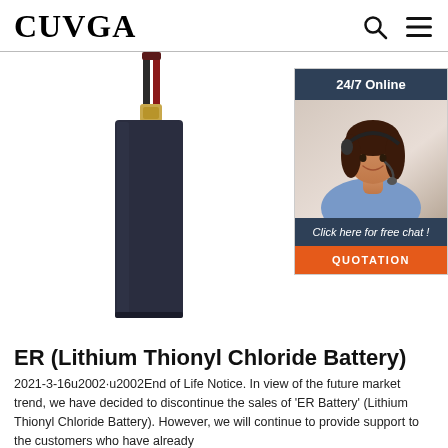CUVGA
[Figure (photo): Product photo of a slim rectangular lithium thionyl chloride battery (dark navy/black) with red and black wires connected at top via a gold connector, standing upright against white background.]
[Figure (photo): Sidebar widget showing a woman wearing a headset with text '24/7 Online', 'Click here for free chat!', and a 'QUOTATION' button.]
ER (Lithium Thionyl Chloride Battery)
2021-3-16u2002·u2002End of Life Notice. In view of the future market trend, we have decided to discontinue the sales of 'ER Battery' (Lithium Thionyl Chloride Battery). However, we will continue to provide support to the customers who have already